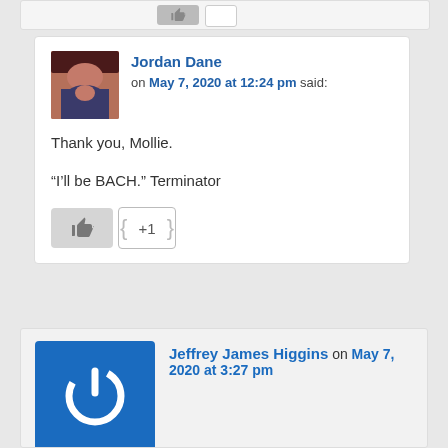[Figure (other): Partial top of a comment card showing like and +1 buttons]
[Figure (photo): Avatar photo of Jordan Dane, a woman with dark hair]
Jordan Dane on May 7, 2020 at 12:24 pm said:
Thank you, Mollie.
“I’ll be BACH.” Terminator
[Figure (other): Like button (thumbs up) and +1 count button]
[Figure (logo): Jeffrey James Higgins avatar: blue square with white power/on button icon]
Jeffrey James Higgins on May 7, 2020 at 3:27 pm